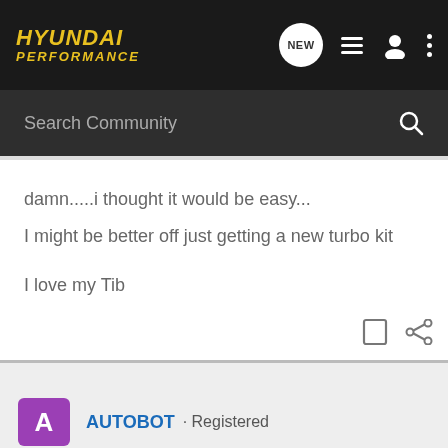HYUNDAI PERFORMANCE
Search Community
damn.....i thought it would be easy...
I might be better off just getting a new turbo kit

I love my Tib
AUTOBOT · Registered